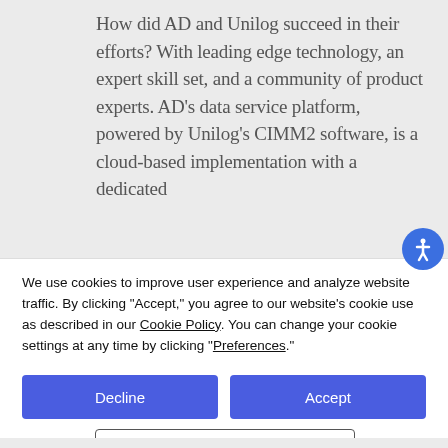How did AD and Unilog succeed in their efforts? With leading edge technology, an expert skill set, and a community of product experts. AD's data service platform, powered by Unilog's CIMM2 software, is a cloud-based implementation with a dedicated
We use cookies to improve user experience and analyze website traffic. By clicking "Accept," you agree to our website's cookie use as described in our Cookie Policy. You can change your cookie settings at any time by clicking "Preferences."